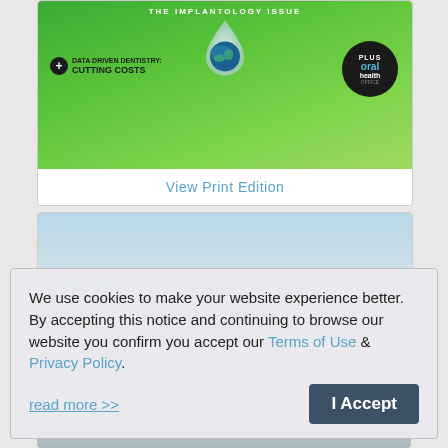[Figure (screenshot): Magazine cover for an oral health implantology issue with green gradient background, a water droplet with earth inside, plus sign badge for 'Data Driven Dentistry: Cutting Costs', and an Oral Health Office badge]
View Print Edition
[Figure (screenshot): Magazine cover for Oral Hygiene, May 2022, with blue tones and large 'oralhygiene' text overlay]
We use cookies to make your website experience better. By accepting this notice and continuing to browse our website you confirm you accept our Terms of Use & Privacy Policy.
read more >>
I Accept